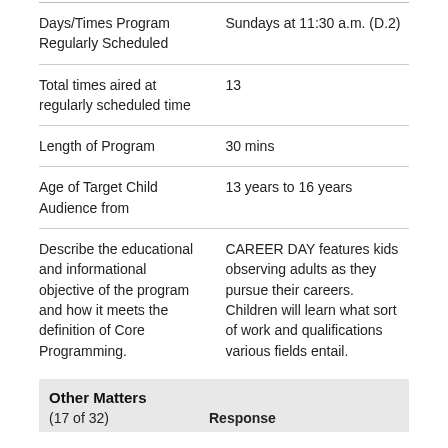|  |  |
| --- | --- |
| Days/Times Program Regularly Scheduled | Sundays at 11:30 a.m. (D.2) |
| Total times aired at regularly scheduled time | 13 |
| Length of Program | 30 mins |
| Age of Target Child Audience from | 13 years to 16 years |
| Describe the educational and informational objective of the program and how it meets the definition of Core Programming. | CAREER DAY features kids observing adults as they pursue their careers. Children will learn what sort of work and qualifications various fields entail. |
Other Matters (17 of 32)
Response